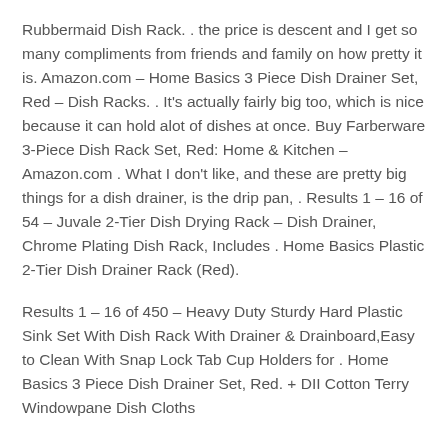Rubbermaid Dish Rack. . the price is descent and I get so many compliments from friends and family on how pretty it is. Amazon.com – Home Basics 3 Piece Dish Drainer Set, Red – Dish Racks. . It's actually fairly big too, which is nice because it can hold alot of dishes at once. Buy Farberware 3-Piece Dish Rack Set, Red: Home & Kitchen – Amazon.com . What I don't like, and these are pretty big things for a dish drainer, is the drip pan, . Results 1 – 16 of 54 – Juvale 2-Tier Dish Drying Rack – Dish Drainer, Chrome Plating Dish Rack, Includes . Home Basics Plastic 2-Tier Dish Drainer Rack (Red).
Results 1 – 16 of 450 – Heavy Duty Sturdy Hard Plastic Sink Set With Dish Rack With Drainer & Drainboard,Easy to Clean With Snap Lock Tab Cup Holders for . Home Basics 3 Piece Dish Drainer Set, Red. + DII Cotton Terry Windowpane Dish Cloths